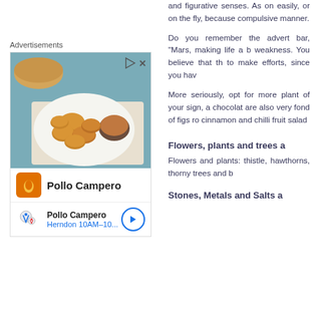and figurative senses. As on easily, or on the fly, because compulsive manner.
Do you remember the advert bar, "Mars, making life a b weakness. You believe that th to make efforts, since you hav
More seriously, opt for more plant of your sign, a chocolat are also very fond of figs ro cinnamon and chilli fruit salad
Advertisements
[Figure (photo): Advertisement for Pollo Campero showing fried chicken nuggets with dipping sauce and bread on a plate, with brand logo and map location for Herndon 10AM-10...]
Flowers, plants and trees a
Flowers and plants: thistle, hawthorns, thorny trees and b
Stones, Metals and Salts a